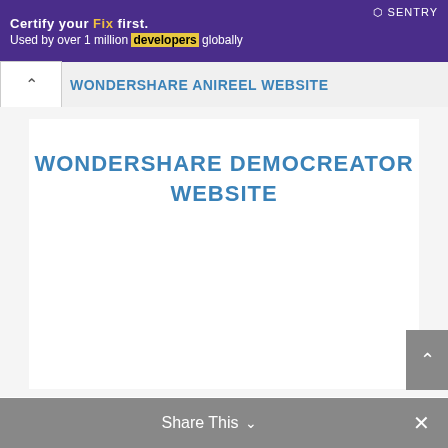[Figure (screenshot): Purple/violet advertisement banner with text 'Used by over 1 million developers globally' and Sentry logo on the right]
WONDERSHARE ANIREEL WEBSITE
WONDERSHARE DEMOCREATOR WEBSITE
Share This ∨  ✕